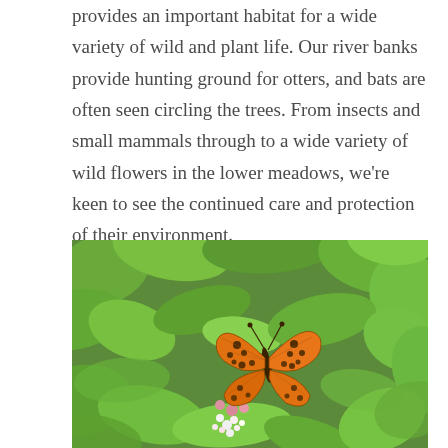provides an important habitat for a wide variety of wild and plant life. Our river banks provide hunting ground for otters, and bats are often seen circling the trees. From insects and small mammals through to a wide variety of wild flowers in the lower meadows, we're keen to see the continued care and protection of their environment.
[Figure (photo): A close-up photograph of an orange fritillary butterfly with black spots and markings, perched on white and pink flowers surrounded by lush green leaves and foliage.]